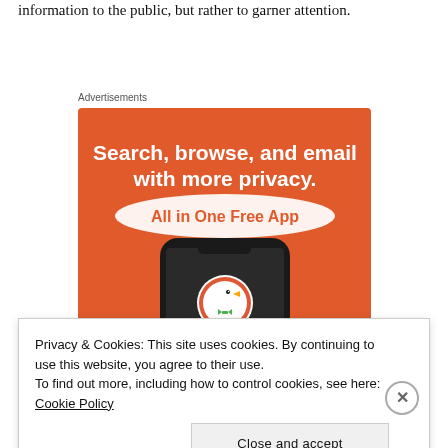information to the public, but rather to garner attention.
Advertisements
[Figure (illustration): DuckDuckGo advertisement banner on orange background. Text reads: 'Search, browse, and email with more privacy. All in One Free App'. Shows a smartphone with the DuckDuckGo duck logo.]
Privacy & Cookies: This site uses cookies. By continuing to use this website, you agree to their use.
To find out more, including how to control cookies, see here: Cookie Policy
Close and accept